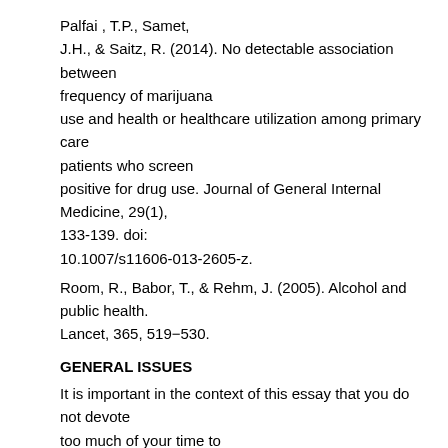Palfai, T.P., Samet, J.H., & Saitz, R. (2014). No detectable association between frequency of marijuana use and health or healthcare utilization among primary care patients who screen positive for drug use. Journal of General Internal Medicine, 29(1), 133-139. doi: 10.1007/s11606-013-2605-z.
Room, R., Babor, T., & Rehm, J. (2005). Alcohol and public health. Lancet, 365, 519−530.
GENERAL ISSUES
It is important in the context of this essay that you do not devote too much of your time to irrelevant issues. This is a very rich literature and it will be easily for you to be overwhelmed by detail. My strongest caution is to make sure that you address the question asked rather than present all that you know about alcohol and cannabis.
That said, an approach to the issue could look something like this: